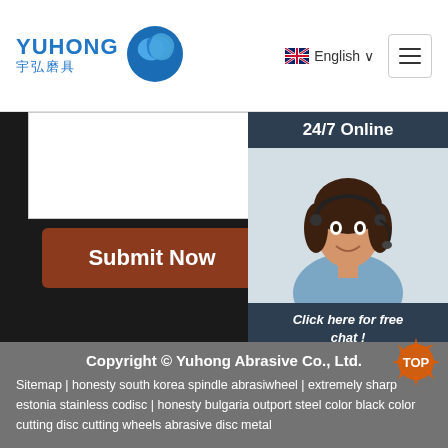YUHONG 宇弘磨具 | English
[Figure (screenshot): White form input area on dark background]
Submit Now
[Figure (photo): 24/7 Online customer service representative wearing headset, smiling]
Click here for free chat !
QUOTATION
Copyright © Yuhong Abrasive Co., Ltd.
Sitemap | honesty south korea spindle abrasiwheel | extremely sharp estonia stainless codisc | honesty bulgaria outport steel color black color cutting disc cutting wheels abrasive disc metal